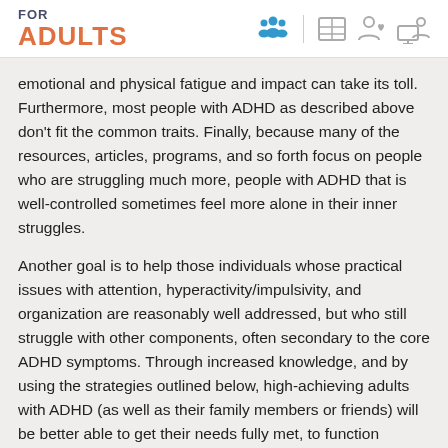FOR ADULTS
emotional and physical fatigue and impact can take its toll. Furthermore, most people with ADHD as described above don't fit the common traits. Finally, because many of the resources, articles, programs, and so forth focus on people who are struggling much more, people with ADHD that is well-controlled sometimes feel more alone in their inner struggles.
Another goal is to help those individuals whose practical issues with attention, hyperactivity/impulsivity, and organization are reasonably well addressed, but who still struggle with other components, often secondary to the core ADHD symptoms. Through increased knowledge, and by using the strategies outlined below, high-achieving adults with ADHD (as well as their family members or friends) will be better able to get their needs fully met, to function optimally, and to get the most satisfaction out of life possible.